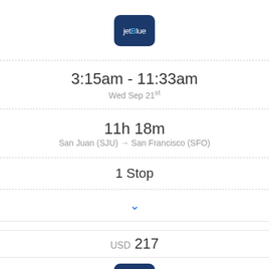[Figure (logo): JetBlue airline logo — dark navy rounded square with jetBlue text in white]
3:15am - 11:33am
Wed Sep 21st
11h 18m
San Juan (SJU) → San Francisco (SFO)
1 Stop
▾
USD 217
[Figure (logo): JetBlue airline logo — dark navy rounded square with jetBlue text in white]
1:00pm - 9:22pm